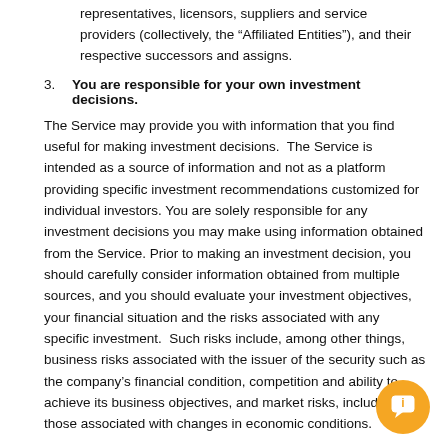representatives, licensors, suppliers and service providers (collectively, the “Affiliated Entities”), and their respective successors and assigns.
3. You are responsible for your own investment decisions.
The Service may provide you with information that you find useful for making investment decisions. The Service is intended as a source of information and not as a platform providing specific investment recommendations customized for individual investors. You are solely responsible for any investment decisions you may make using information obtained from the Service. Prior to making an investment decision, you should carefully consider information obtained from multiple sources, and you should evaluate your investment objectives, your financial situation and the risks associated with any specific investment. Such risks include, among other things, business risks associated with the issuer of the security such as the company’s financial condition, competition and ability to achieve its business objectives, and market risks, including those associated with changes in economic conditions.